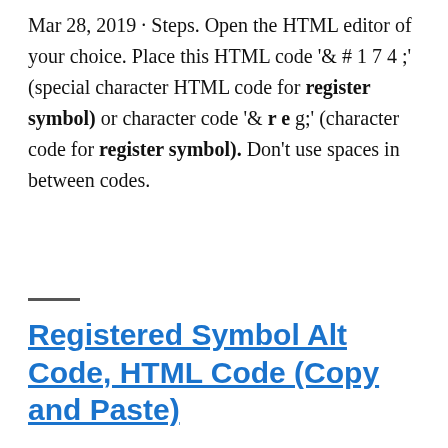Mar 28, 2019 · Steps. Open the HTML editor of your choice. Place this HTML code '& # 1 7 4 ;' (special character HTML code for register symbol) or character code '& r e g;' (character code for register symbol). Don't use spaces in between codes.
Registered Symbol Alt Code, HTML Code (Copy and Paste)